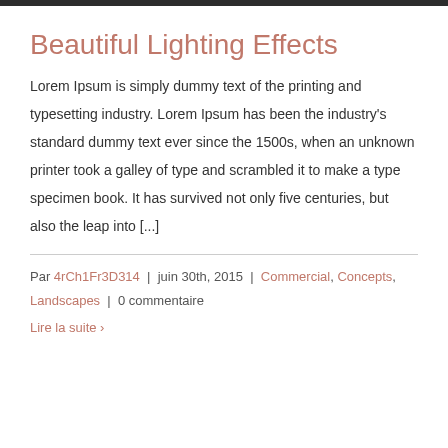Beautiful Lighting Effects
Lorem Ipsum is simply dummy text of the printing and typesetting industry. Lorem Ipsum has been the industry's standard dummy text ever since the 1500s, when an unknown printer took a galley of type and scrambled it to make a type specimen book. It has survived not only five centuries, but also the leap into [...]
Par 4rCh1Fr3D314 | juin 30th, 2015 | Commercial, Concepts, Landscapes | 0 commentaire
Lire la suite ›